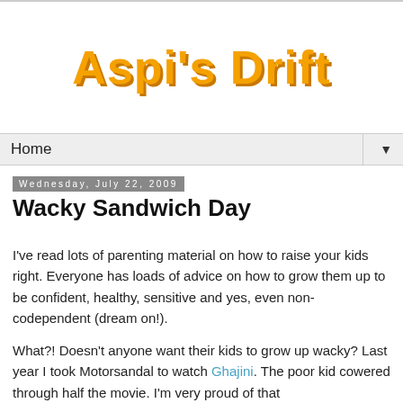Aspi's Drift
Home
Wednesday, July 22, 2009
Wacky Sandwich Day
I've read lots of parenting material on how to raise your kids right. Everyone has loads of advice on how to grow them up to be confident, healthy, sensitive and yes, even non-codependent (dream on!).
What?! Doesn't anyone want their kids to grow up wacky? Last year I took Motorsandal to watch Ghajini. The poor kid cowered through half the movie. I'm very proud of that